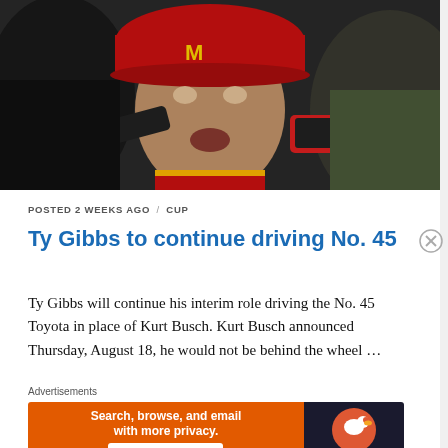[Figure (photo): Young male NASCAR driver wearing red McDonald's-branded uniform and cap being interviewed, with microphones pointed at him, surrounded by people]
POSTED 2 WEEKS AGO / CUP
Ty Gibbs to continue driving No. 45
Ty Gibbs will continue his interim role driving the No. 45 Toyota in place of Kurt Busch. Kurt Busch announced Thursday, August 18, he would not be behind the wheel…
Advertisements
[Figure (screenshot): DuckDuckGo advertisement banner with orange background: 'Search, browse, and email with more privacy. All in One Free App' with DuckDuckGo logo on dark right panel]